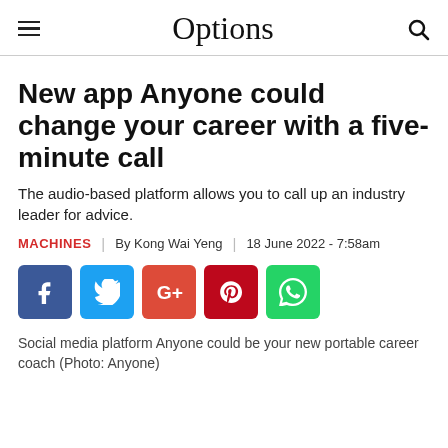Options
New app Anyone could change your career with a five-minute call
The audio-based platform allows you to call up an industry leader for advice.
MACHINES | By Kong Wai Yeng | 18 June 2022 - 7:58am
[Figure (infographic): Social media sharing buttons: Facebook, Twitter, Google+, Pinterest, WhatsApp]
Social media platform Anyone could be your new portable career coach (Photo: Anyone)